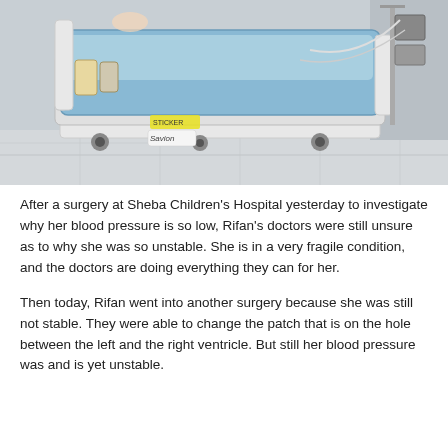[Figure (photo): Hospital room showing a medical bed with blue linens, white metal frame with side rails, IV lines and medical equipment attached, on a tiled floor. Medical monitoring equipment visible on the right side.]
After a surgery at Sheba Children's Hospital yesterday to investigate why her blood pressure is so low, Rifan's doctors were still unsure as to why she was so unstable. She is in a very fragile condition, and the doctors are doing everything they can for her.
Then today, Rifan went into another surgery because she was still not stable. They were able to change the patch that is on the hole between the left and the right ventricle. But still her blood pressure was and is yet unstable.